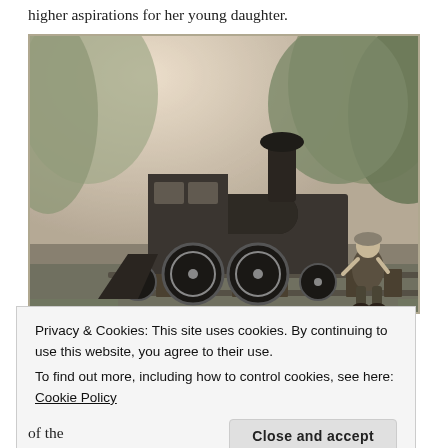higher aspirations for her young daughter.
[Figure (photo): Black and white photograph of a young child sitting beside a steam locomotive on train tracks, surrounded by trees and grass.]
Privacy & Cookies: This site uses cookies. By continuing to use this website, you agree to their use.
To find out more, including how to control cookies, see here: Cookie Policy
of the